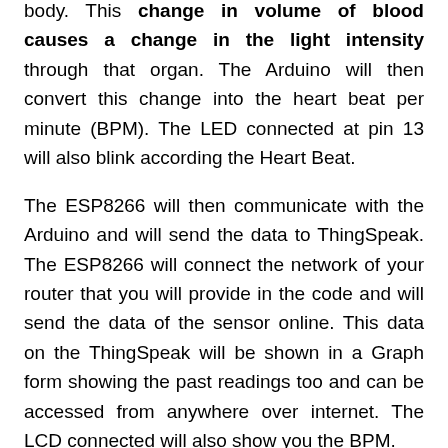body. This change in volume of blood causes a change in the light intensity through that organ. The Arduino will then convert this change into the heart beat per minute (BPM). The LED connected at pin 13 will also blink according the Heart Beat.
The ESP8266 will then communicate with the Arduino and will send the data to ThingSpeak. The ESP8266 will connect the network of your router that you will provide in the code and will send the data of the sensor online. This data on the ThingSpeak will be shown in a Graph form showing the past readings too and can be accessed from anywhere over internet. The LCD connected will also show you the BPM.